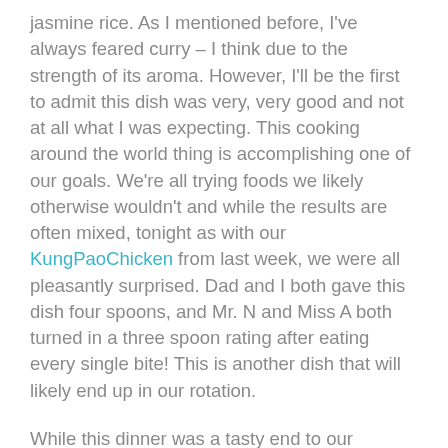jasmine rice. As I mentioned before, I've always feared curry – I think due to the strength of its aroma. However, I'll be the first to admit this dish was very, very good and not at all what I was expecting. This cooking around the world thing is accomplishing one of our goals. We're all trying foods we likely otherwise wouldn't and while the results are often mixed, tonight as with our KungPaoChicken from last week, we were all pleasantly surprised. Dad and I both gave this dish four spoons, and Mr. N and Miss A both turned in a three spoon rating after eating every single bite! This is another dish that will likely end up in our rotation.
While this dinner was a tasty end to our weekend adventure, it's a beginning of sorts as well. Not only did I overcome a fear of heights and small spaces (see below – Mr. N and I suspended in a cage above the city), I also learned that making Asian-inspired food at home isn't all that hard or scary – and it's definitely tasty. And in an added bonus – I can now order something other than sweet and